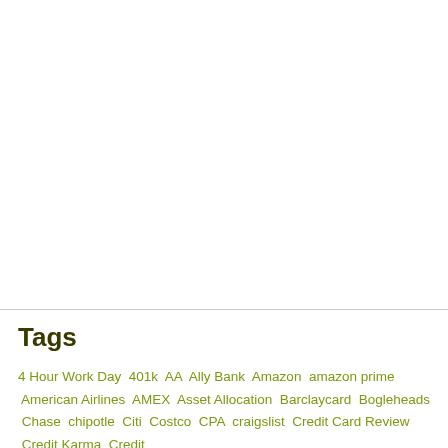[Figure (other): Blank white rectangle occupying the upper portion of the page, bordered at the bottom by a horizontal rule.]
Tags
4 Hour Work Day 401k AA Ally Bank Amazon amazon prime American Airlines AMEX Asset Allocation Barclaycard Bogleheads Chase chipotle Citi Costco CPA craigslist Credit Card Review Credit Karma Credit